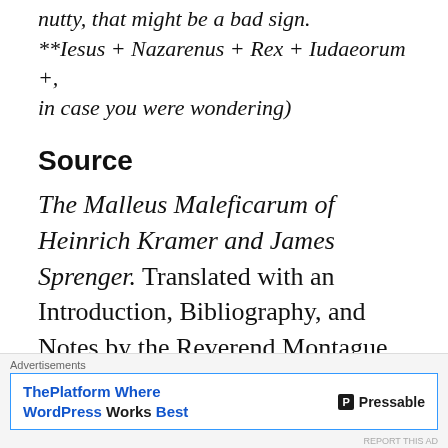nutty, that might be a bad sign. **Iesus + Nazarenus + Rex + Iudaeorum +, in case you were wondering)
Source
The Malleus Maleficarum of Heinrich Kramer and James Sprenger. Translated with an Introduction, Bibliography, and Notes by the Reverend Montague Summers. Dover Publications, New
[Figure (other): Advertisement banner: 'ThePlatform Where WordPress Works Best' by Pressable, with blue border and Advertisements label]